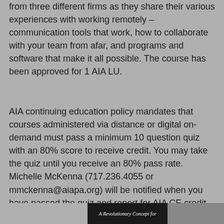from three different firms as they share their various experiences with working remotely – communication tools that work, how to collaborate with your team from afar, and programs and software that make it all possible. The course has been approved for 1 AIA LU.
AIA continuing education policy mandates that courses administered via distance or digital on-demand must pass a minimum 10 question quiz with an 80% score to receive credit. You may take the quiz until you receive an 80% pass rate. Michelle McKenna (717.236.4055 or mmckenna@aiapa.org) will be notified when you have passed the quiz and report for AIA CE credit within 3 business days.
A Revolutionary Concept for